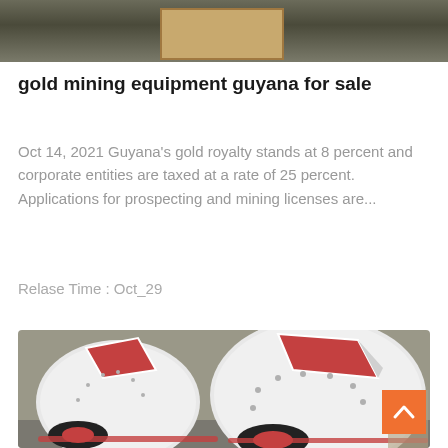[Figure (photo): Top portion of a photo showing industrial equipment or machinery in a warehouse, with a wooden crate or box visible in the center against a dark background.]
gold mining equipment guyana for sale
Oct 14, 2021 Guyana's gold royalty stands at 8 percent and corporate entities are taxed at a rate of 25 percent. Applications for prospecting and mining licenses are...
Relase Time : Oct_29
[Figure (photo): Photo of large industrial mining equipment — two large white and red ball mills or hammer mills — sitting on a warehouse floor. The machines are white with red accents and black base wheels.]